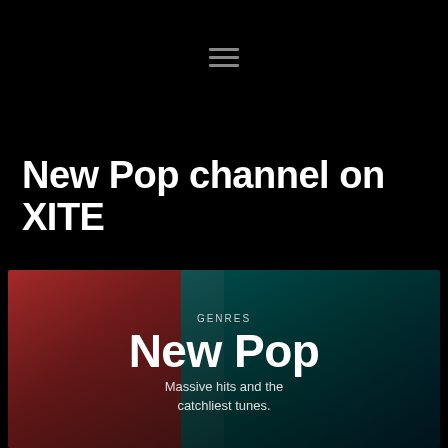[Figure (screenshot): Hamburger menu icon with three horizontal grey lines on black background]
New Pop channel on XITE
[Figure (photo): A person wearing a red beret with face stickers, overlaid with teal/dark background showing classroom scene. Text overlay shows GENRES label and New Pop title with subtitle 'Massive hits and the catchliest tunes.']